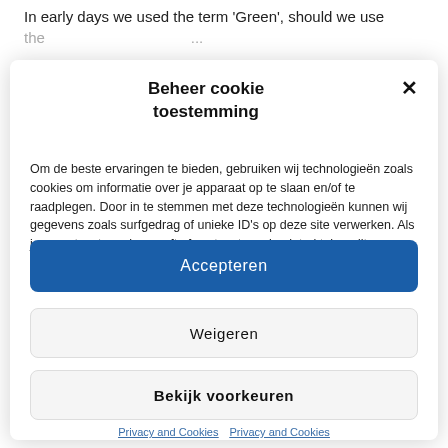In early days we used the term 'Green', should we use the...
Beheer cookie toestemming
Om de beste ervaringen te bieden, gebruiken wij technologieën zoals cookies om informatie over je apparaat op te slaan en/of te raadplegen. Door in te stemmen met deze technologieën kunnen wij gegevens zoals surfgedrag of unieke ID's op deze site verwerken. Als je geen toestemming geeft of uw toestemming intrekt, kan dit een nadelige invloed hebben op bepaalde functies en mogelijkheden.
Accepteren
Weigeren
Bekijk voorkeuren
Privacy and Cookies   Privacy and Cookies